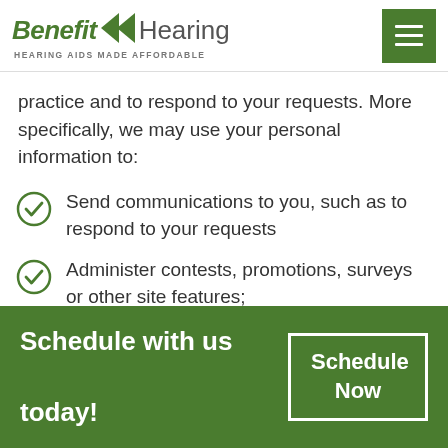[Figure (logo): Benefit Hearing logo with green arrow icon and tagline 'HEARING AIDS MADE AFFORDABLE']
practice and to respond to your requests. More specifically, we may use your personal information to:
Send communications to you, such as to respond to your requests
Administer contests, promotions, surveys or other site features;
Schedule with us today!
Schedule Now